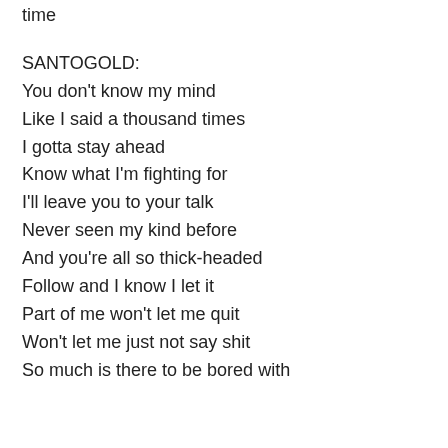time
SANTOGOLD:
You don't know my mind
Like I said a thousand times
I gotta stay ahead
Know what I'm fighting for
I'll leave you to your talk
Never seen my kind before
And you're all so thick-headed
Follow and I know I let it
Part of me won't let me quit
Won't let me just not say shit
So much is there to be bored with